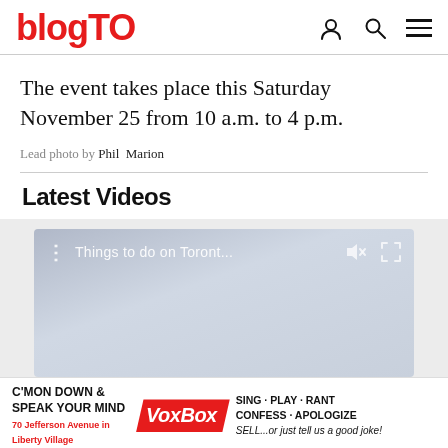blogTO
The event takes place this Saturday November 25 from 10 a.m. to 4 p.m.
Lead photo by Phil Marion
Latest Videos
[Figure (screenshot): Video player showing 'Things to do on Toront...' with mute and fullscreen icons]
[Figure (other): Advertisement: C'MON DOWN & SPEAK YOUR MIND VoxBox SING·PLAY·RANT CONFESS·APOLOGIZE SELL...or just tell us a good joke! 70 Jefferson Avenue in Liberty Village]